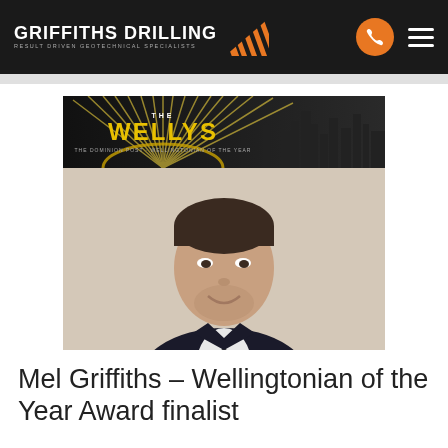GRIFFITHS DRILLING — RESULT DRIVEN GEOTECHNICAL SPECIALISTS
[Figure (photo): The Wellys award banner (dark background with yellow sunburst and city skyline silhouette, 'THE WELLYS' logo in yellow) combined with a portrait photo of a smiling man in a dark suit and tie against a light background.]
Mel Griffiths – Wellingtonian of the Year Award finalist